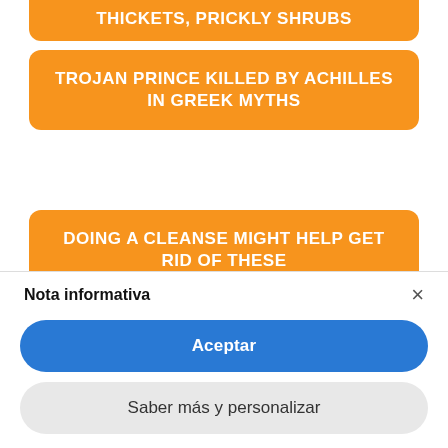THICKETS, PRICKLY SHRUBS
TROJAN PRINCE KILLED BY ACHILLES IN GREEK MYTHS
DOING A CLEANSE MIGHT HELP GET RID OF THESE
C S LEWIS FICTIONAL FANTASY WORLD
Nota informativa
Aceptar
Saber más y personalizar